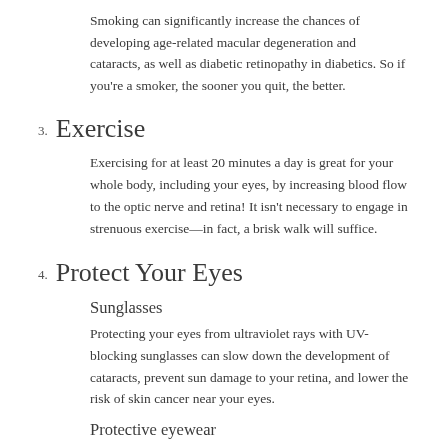Smoking can significantly increase the chances of developing age-related macular degeneration and cataracts, as well as diabetic retinopathy in diabetics. So if you're a smoker, the sooner you quit, the better.
3. Exercise
Exercising for at least 20 minutes a day is great for your whole body, including your eyes, by increasing blood flow to the optic nerve and retina! It isn't necessary to engage in strenuous exercise—in fact, a brisk walk will suffice.
4. Protect Your Eyes
Sunglasses
Protecting your eyes from ultraviolet rays with UV-blocking sunglasses can slow down the development of cataracts, prevent sun damage to your retina, and lower the risk of skin cancer near your eyes.
Protective eyewear